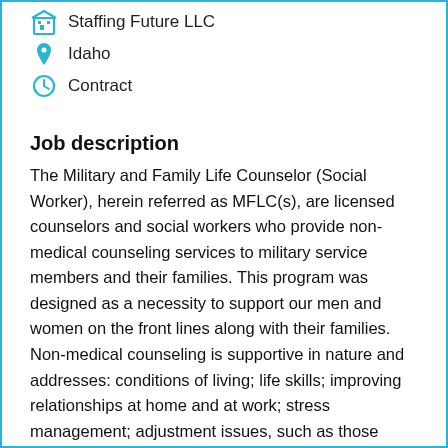Staffing Future LLC
Idaho
Contract
Job description
The Military and Family Life Counselor (Social Worker), herein referred as MFLC(s), are licensed counselors and social workers who provide non-medical counseling services to military service members and their families. This program was designed as a necessity to support our men and women on the front lines along with their families. Non-medical counseling is supportive in nature and addresses: conditions of living; life skills; improving relationships at home and at work; stress management; adjustment issues, such as those related to returning from deployment; marital problems;